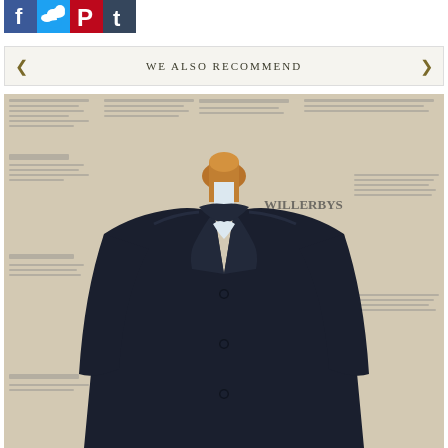[Figure (logo): Social media share icons: Facebook (blue f), Twitter (blue bird), Pinterest (red P), Tumblr (blue t)]
WE ALSO RECOMMEND
[Figure (photo): A dark navy blazer/jacket displayed on a wooden mannequin stand against a vintage newspaper background. The jacket has notch lapels and three visible buttons.]